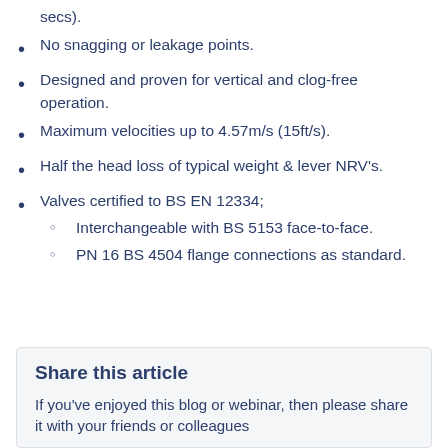secs).
No snagging or leakage points.
Designed and proven for vertical and clog-free operation.
Maximum velocities up to 4.57m/s (15ft/s).
Half the head loss of typical weight & lever NRV's.
Valves certified to BS EN 12334;
Interchangeable with BS 5153 face-to-face.
PN 16 BS 4504 flange connections as standard.
Share this article
If you've enjoyed this blog or webinar, then please share it with your friends or colleagues